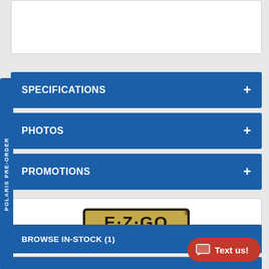SPECIFICATIONS +
PHOTOS +
PROMOTIONS +
[Figure (logo): E-Z-GO logo — A Textron Company]
BROWSE IN-STOCK (1)
VIEW SIMILAR MODELS